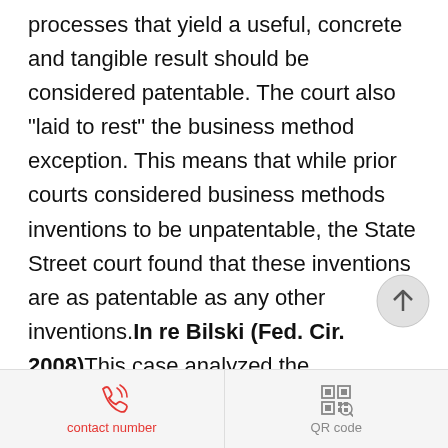processes that yield a useful, concrete and tangible result should be considered patentable. The court also "laid to rest" the business method exception. This means that while prior courts considered business methods inventions to be unpatentable, the State Street court found that these inventions are as patentable as any other inventions.In re Bilski (Fed. Cir. 2008)This case analyzed the patentability of processes where the process steps are not not necessarily performed on a computer. The majority decision has set forth a single test for determining the
contact number   QR code